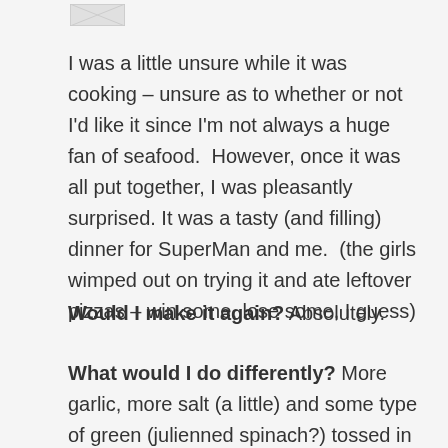[Figure (other): Small placeholder image or thumbnail in top left area]
I was a little unsure while it was cooking – unsure as to whether or not I'd like it since I'm not always a huge fan of seafood.  However, once it was all put together, I was pleasantly surprised. It was a tasty (and filling) dinner for SuperMan and me.  (the girls wimped out on trying it and ate leftover pizzas – win some, lose some, I guess)
Would I make it again? Absolutely.
What would I do differently? More garlic, more salt (a little) and some type of green (julienned spinach?) tossed in there, I think. And probably use spaghetti as the recipe called for. I used